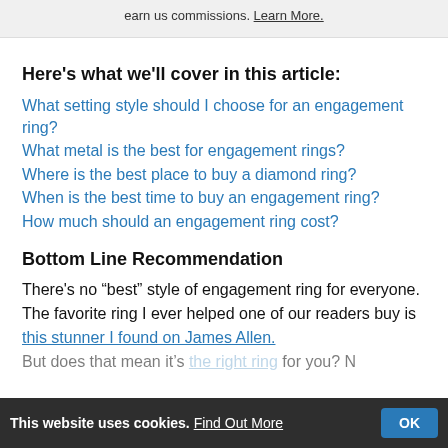earn us commissions. Learn More.
Here's what we'll cover in this article:
What setting style should I choose for an engagement ring?
What metal is the best for engagement rings?
Where is the best place to buy a diamond ring?
When is the best time to buy an engagement ring?
How much should an engagement ring cost?
Bottom Line Recommendation
There's no “best” style of engagement ring for everyone. The favorite ring I ever helped one of our readers buy is this stunner I found on James Allen. But does that mean it’s the right ring for you? N
This website uses cookies. Find Out More